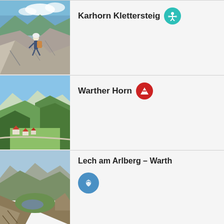[Figure (photo): Climber on rocky via ferrata ridge with Alpine panorama in background]
Karhorn Klettersteig
[Figure (photo): Green Alpine valley with small village and forested hillsides]
Warther Horn
[Figure (photo): Aerial view of mountain valley with forests and rocky peaks]
Lech am Arlberg – Warth